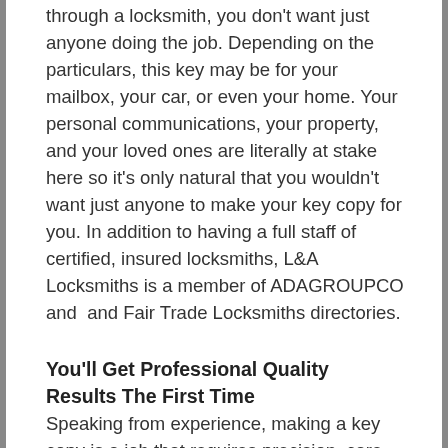through a locksmith, you don't want just anyone doing the job. Depending on the particulars, this key may be for your mailbox, your car, or even your home. Your personal communications, your property, and your loved ones are literally at stake here so it's only natural that you wouldn't want just anyone to make your key copy for you. In addition to having a full staff of certified, insured locksmiths, L&A Locksmiths is a member of ADAGROUPCO and and Fair Trade Locksmiths directories.
You'll Get Professional Quality Results The First Time
Speaking from experience, making a key copy is a job that requires precision, care, and proper attention to detail. Beyond the basic question of whether or not your chosen service has the